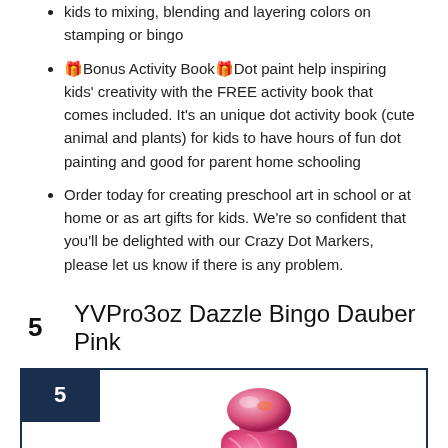kids to mixing, blending and layering colors on stamping or bingo
🎁Bonus Activity Book🎁Dot paint help inspiring kids' creativity with the FREE activity book that comes included. It's an unique dot activity book (cute animal and plants) for kids to have hours of fun dot painting and good for parent home schooling
Order today for creating preschool art in school or at home or as art gifts for kids. We're so confident that you'll be delighted with our Crazy Dot Markers, please let us know if there is any problem.
5   YVPro3oz Dazzle Bingo Dauber Pink
[Figure (photo): Product image of YVPro3oz Dazzle Bingo Dauber Pink marker, showing a pink marbled dauber bottle with a round top, partially visible inside a dark navy bordered product box with a rank badge of 5]